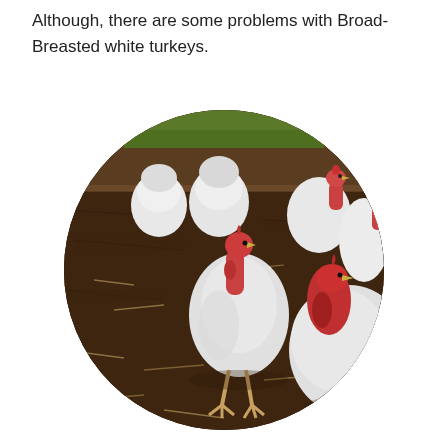Although, there are some problems with Broad-Breasted white turkeys.
[Figure (photo): A circular-cropped photograph showing a group of Broad-Breasted white turkeys in an outdoor pen. The turkeys have white feathers and red heads/necks. They are standing on dark brown dirt/soil with some dry grass and straw. A wooden fence or barrier is visible in the background with green grass beyond it. Several turkeys face away from the camera showing their large white bodies, while others face toward the camera showing their red wattled heads.]